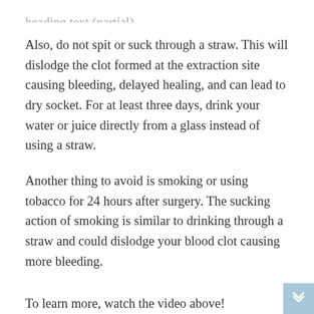Also, do not spit or suck through a straw. This will dislodge the clot formed at the extraction site causing bleeding, delayed healing, and can lead to dry socket. For at least three days, drink your water or juice directly from a glass instead of using a straw.
Another thing to avoid is smoking or using tobacco for 24 hours after surgery. The sucking action of smoking is similar to drinking through a straw and could dislodge your blood clot causing more bleeding.
To learn more, watch the video above!